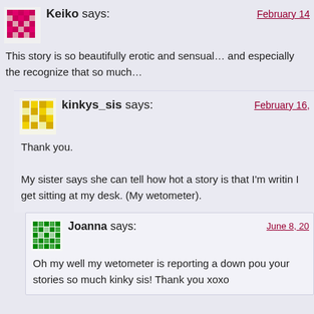Keiko says: February 14
This story is so beautifully erotic and sensual… and especially the recognize that so much…
kinkys_sis says: February 16,
Thank you.

My sister says she can tell how hot a story is that I'm writin I get sitting at my desk. (My wetometer).
Joanna says: June 8, 20
Oh my well my wetometer is reporting a down pou your stories so much kinky sis! Thank you xoxo